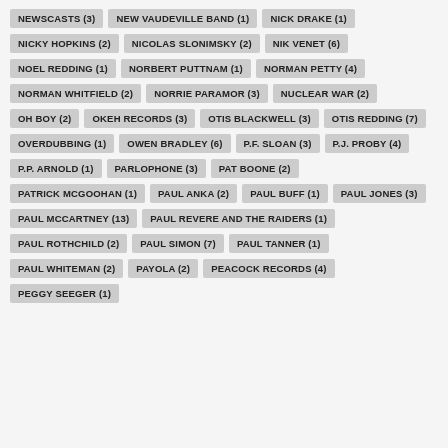NEWSCASTS (3)
NEW VAUDEVILLE BAND (1)
NICK DRAKE (1)
NICKY HOPKINS (2)
NICOLAS SLONIMSKY (2)
NIK VENET (6)
NOEL REDDING (1)
NORBERT PUTTNAM (1)
NORMAN PETTY (4)
NORMAN WHITFIELD (2)
NORRIE PARAMOR (3)
NUCLEAR WAR (2)
OH BOY (2)
OKEH RECORDS (3)
OTIS BLACKWELL (3)
OTIS REDDING (7)
OVERDUBBING (1)
OWEN BRADLEY (6)
P.F. SLOAN (3)
P.J. PROBY (4)
P.P. ARNOLD (1)
PARLOPHONE (3)
PAT BOONE (2)
PATRICK MCGOOHAN (1)
PAUL ANKA (2)
PAUL BUFF (1)
PAUL JONES (3)
PAUL MCCARTNEY (13)
PAUL REVERE AND THE RAIDERS (1)
PAUL ROTHCHILD (2)
PAUL SIMON (7)
PAUL TANNER (1)
PAUL WHITEMAN (2)
PAYOLA (2)
PEACOCK RECORDS (4)
PEGGY SEEGER (1)